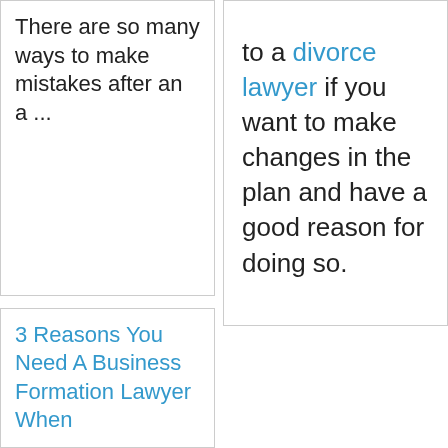to a divorce lawyer if you want to make changes in the plan and have a good reason for doing so.
There are so many ways to make mistakes after an a ...
3 Reasons You Need A Business Formation Lawyer When